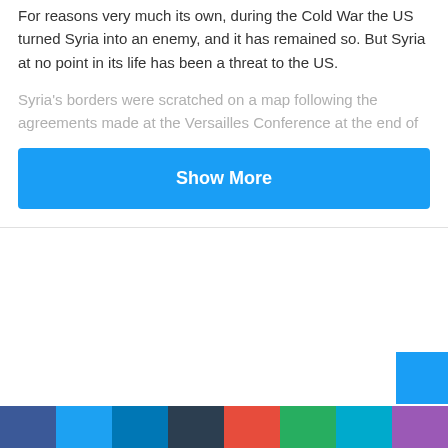For reasons very much its own, during the Cold War the US turned Syria into an enemy, and it has remained so. But Syria at no point in its life has been a threat to the US.
Syria's borders were scratched on a map following the agreements made at the Versailles Conference at the end of
Show More
[Figure (infographic): Social media share bar at the bottom with colored blocks: blue, light blue, medium blue, dark navy, red, green, teal, purple]